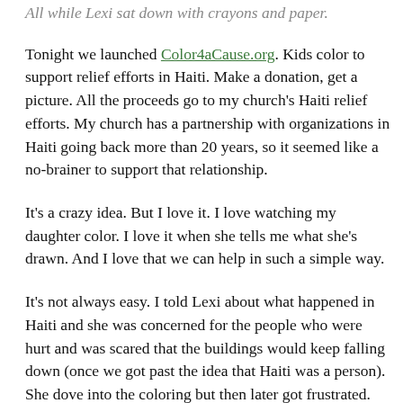All while Lexi sat down with crayons and paper.
Tonight we launched Color4aCause.org. Kids color to support relief efforts in Haiti. Make a donation, get a picture. All the proceeds go to my church's Haiti relief efforts. My church has a partnership with organizations in Haiti going back more than 20 years, so it seemed like a no-brainer to support that relationship.
It's a crazy idea. But I love it. I love watching my daughter color. I love it when she tells me what she's drawn. And I love that we can help in such a simple way.
It's not always easy. I told Lexi about what happened in Haiti and she was concerned for the people who were hurt and was scared that the buildings would keep falling down (once we got past the idea that Haiti was a person). She dove into the coloring but then later got frustrated. She keeps telling me she doesn't know what to draw or how to draw it, and I keep trying to tell her just to draw, you can't do it wrong.